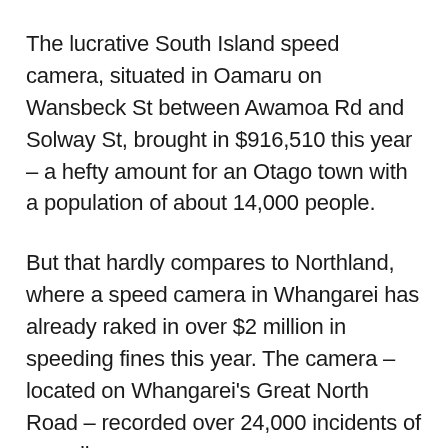The lucrative South Island speed camera, situated in Oamaru on Wansbeck St between Awamoa Rd and Solway St, brought in $916,510 this year – a hefty amount for an Otago town with a population of about 14,000 people.
But that hardly compares to Northland, where a speed camera in Whangarei has already raked in over $2 million in speeding fines this year. The camera – located on Whangarei's Great North Road – recorded over 24,000 incidents of speeding.